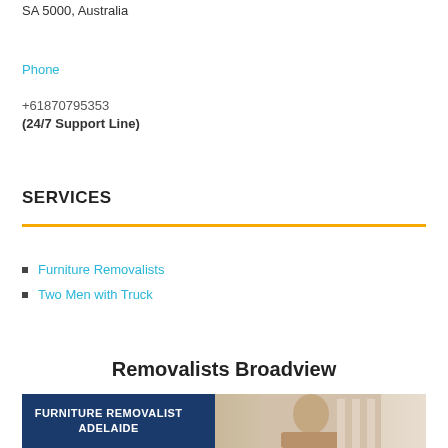SA 5000, Australia
Phone
+61870795353
(24/7 Support Line)
SERVICES
Furniture Removalists
Two Men with Truck
Removalists Broadview
[Figure (photo): Banner image with dark navy blue background on the left showing text 'FURNITURE REMOVALIST ADELAIDE' in white bold letters, and a photo of a man on the right side against a light interior background.]